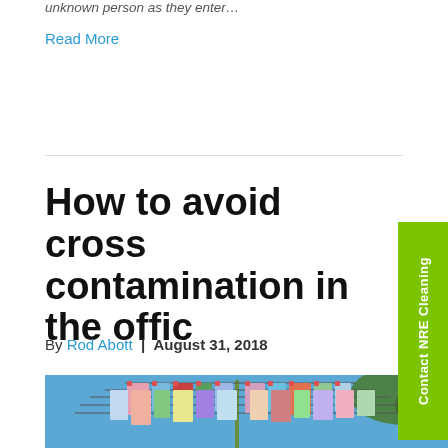unknown person as they enter…
Read More
How to avoid cross contamination in the office
By Rod Abott | August 31, 2018
[Figure (photo): Colorful clothes and cleaning cloths hanging on a rotary clothesline outdoors, blue sky and trees in background]
Contact NRE Cleaning